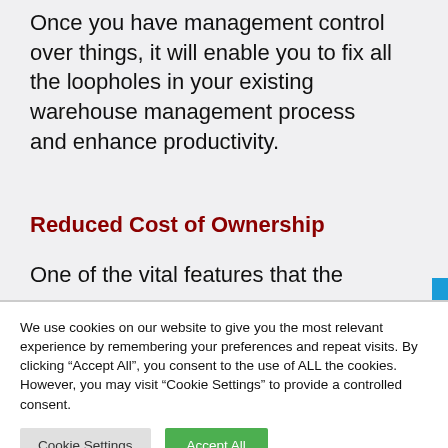Once you have management control over things, it will enable you to fix all the loopholes in your existing warehouse management process and enhance productivity.
Reduced Cost of Ownership
One of the vital features that the
We use cookies on our website to give you the most relevant experience by remembering your preferences and repeat visits. By clicking “Accept All”, you consent to the use of ALL the cookies. However, you may visit “Cookie Settings” to provide a controlled consent.
Cookie Settings | Accept All